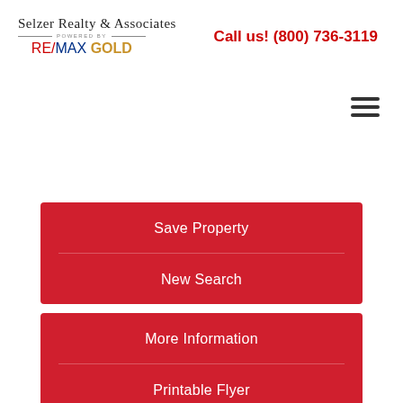[Figure (logo): Selzer Realty & Associates powered by RE/MAX GOLD logo]
Call us! (800) 736-3119
[Figure (other): Hamburger menu icon (three horizontal lines)]
Save Property
New Search
More Information
Printable Flyer